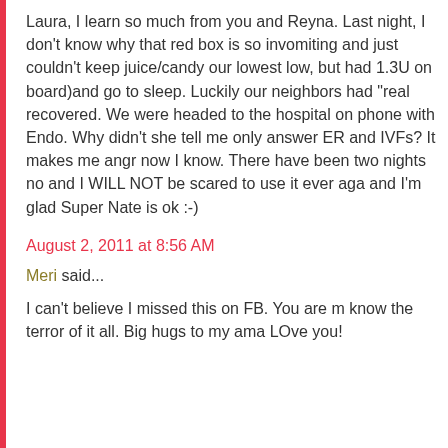Laura, I learn so much from you and Reyna. Last night, I don't know why that red box is so intimidating, vomiting and just couldn't keep juice/candy down (that's our lowest low, but had 1.3U on board)and we needed to go to sleep. Luckily our neighbors had "real" glucagon and recovered. We were headed to the hospital but I ended up on phone with Endo. Why didn't she tell me? Does she only answer ER and IVFs? It makes me angry, but at least now I know. There have been two nights now I've used it and I WILL NOT be scared to use it ever again. Thank you and I'm glad Super Nate is ok :-)
August 2, 2011 at 8:56 AM
Meri said...
I can't believe I missed this on FB. You are my... know the terror of it all. Big hugs to my ama... LOve you!